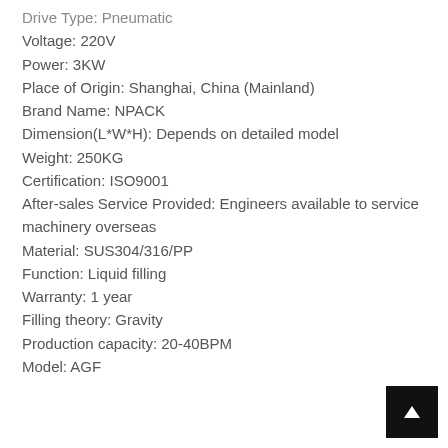Drive Type: Pneumatic
Voltage: 220V
Power: 3KW
Place of Origin: Shanghai, China (Mainland)
Brand Name: NPACK
Dimension(L*W*H): Depends on detailed model
Weight: 250KG
Certification: ISO9001
After-sales Service Provided: Engineers available to service machinery overseas
Material: SUS304/316/PP
Function: Liquid filling
Warranty: 1 year
Filling theory: Gravity
Production capacity: 20-40BPM
Model: AGF